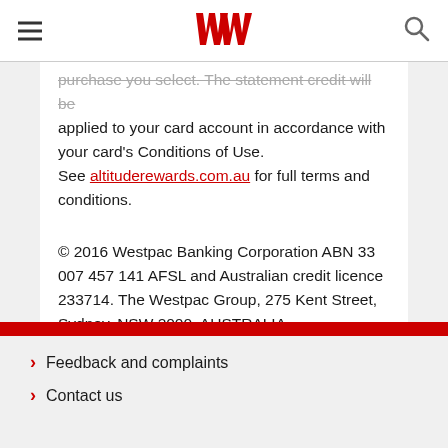Westpac navigation header with hamburger menu, Westpac logo, and search icon
purchase you select. The statement credit will be applied to your card account in accordance with your card's Conditions of Use. See altituderewards.com.au for full terms and conditions.
© 2016 Westpac Banking Corporation ABN 33 007 457 141 AFSL and Australian credit licence 233714. The Westpac Group, 275 Kent Street, Sydney, NSW 2000, AUSTRALIA.
Feedback and complaints
Contact us